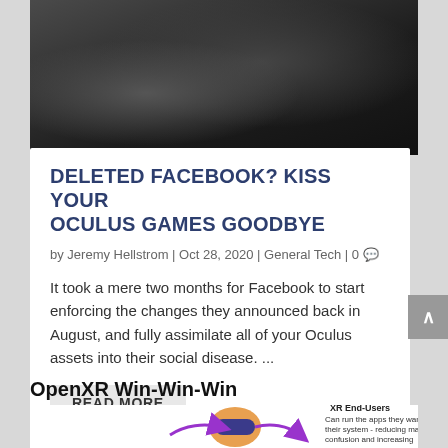[Figure (photo): Dark sci-fi armored figure or robot, black mechanical suit/armor, dark background, top portion of article card image]
DELETED FACEBOOK? KISS YOUR OCULUS GAMES GOODBYE
by Jeremy Hellstrom | Oct 28, 2020 | General Tech | 0
It took a mere two months for Facebook to start enforcing the changes they announced back in August, and fully assimilate all of your Oculus assets into their social disease. ...
READ MORE
OpenXR Win-Win-Win
[Figure (infographic): OpenXR Win-Win-Win diagram showing XR End-Users with a VR headset figure and purple arrows, text: XR End-Users Can run the apps they want on their system - reducing market confusion and increasing consumer confidence]